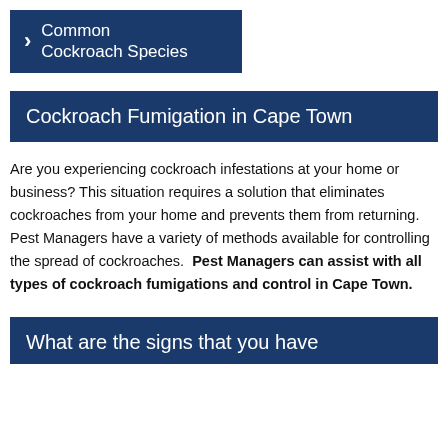Common Cockroach Species
Cockroach Fumigation in Cape Town
Are you experiencing cockroach infestations at your home or business? This situation requires a solution that eliminates cockroaches from your home and prevents them from returning. Pest Managers have a variety of methods available for controlling the spread of cockroaches.  Pest Managers can assist with all types of cockroach fumigations and control in Cape Town.
What are the signs that you have